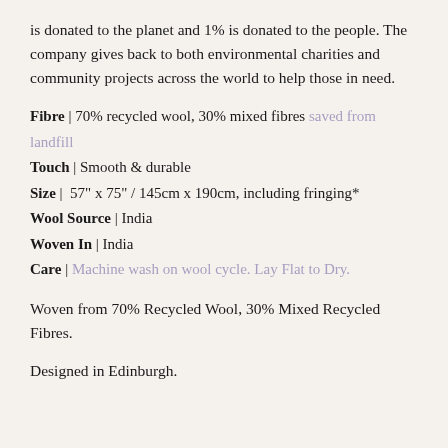is donated to the planet and 1% is donated to the people. The company gives back to both environmental charities and community projects across the world to help those in need.
Fibre | 70% recycled wool, 30% mixed fibres saved from landfill
Touch | Smooth & durable
Size | 57" x 75" / 145cm x 190cm, including fringing*
Wool Source | India
Woven In | India
Care | Machine wash on wool cycle. Lay Flat to Dry.
Woven from 70% Recycled Wool, 30% Mixed Recycled Fibres.
Designed in Edinburgh.